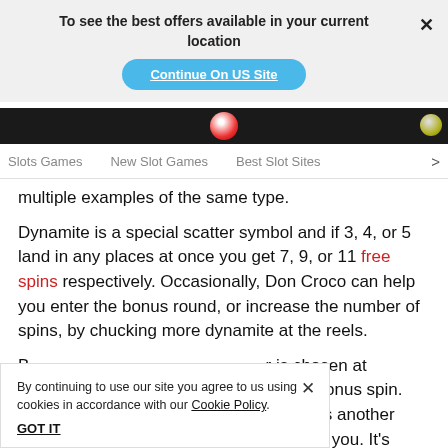To see the best offers available in your current location
Continue On US Site
Slots Games   New Slot Games   Best Slot Sites
multiple examples of the same type.
Dynamite is a special scatter symbol and if 3, 4, or 5 land in any places at once you get 7, 9, or 11 free spins respectively. Occasionally, Don Croco can help you enter the bonus round, or increase the number of spins, by chucking more dynamite at the reels.
By continuing to use our site you agree to us using cookies in accordance with our Cookie Policy.
GOT IT
r is chosen at random each bonus spin. activates another character, so you now have 2 working for you. It's